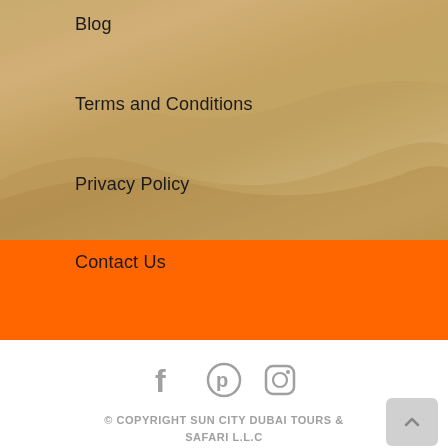Blog
Terms and Conditions
Privacy Policy
Contact Us
[Figure (illustration): Social media icons row: Facebook (f), Pinterest (circle with P), Instagram (camera outline)]
© COPYRIGHT SUN CITY DUBAI TOURS & SAFARI L.L.C